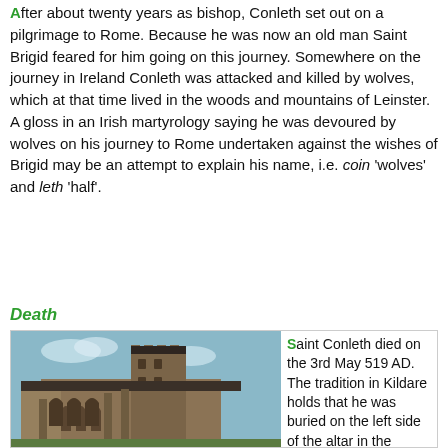After about twenty years as bishop, Conleth set out on a pilgrimage to Rome. Because he was now an old man Saint Brigid feared for him going on this journey. Somewhere on the journey in Ireland Conleth was attacked and killed by wolves, which at that time lived in the woods and mountains of Leinster. A gloss in an Irish martyrology saying he was devoured by wolves on his journey to Rome undertaken against the wishes of Brigid may be an attempt to explain his name, i.e. coin 'wolves' and leth 'half'.
Death
[Figure (photo): Photograph of a Gothic stone church building with a square tower, arched windows, and stone buttresses under a blue sky.]
Saint Conleth died on the 3rd May 519 AD. The tradition in Kildare holds that he was buried on the left side of the altar in the Church of